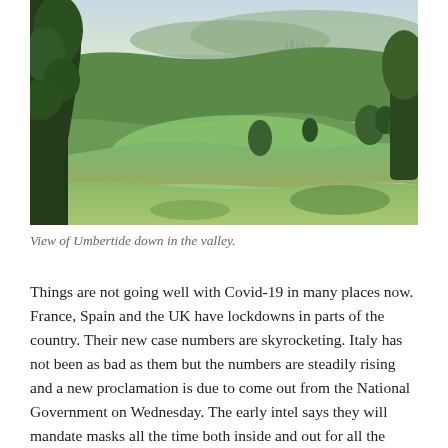[Figure (photo): Landscape photograph showing rolling green hills and valleys with trees, looking down toward the town of Umbertide in the distance under an overcast sky.]
View of Umbertide down in the valley.
Things are not going well with Covid-19 in many places now. France, Spain and the UK have lockdowns in parts of the country. Their new case numbers are skyrocketing. Italy has not been as bad as them but the numbers are steadily rising and a new proclamation is due to come out from the National Government on Wednesday. The early intel says they will mandate masks all the time both inside and out for all the country. Many regions have already done this on their own. I also heard there will be an 11PM curfew for Bars